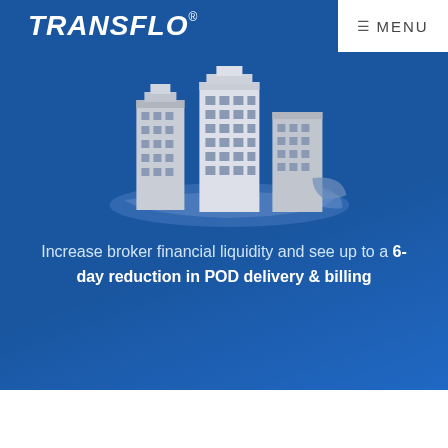TRANSFLO® MENU
[Figure (illustration): Isometric 3D illustration of city buildings and a road network on a blue background, rendered in grayscale/white tones.]
Increase broker financial liquidity and see up to a 6-day reduction in POD delivery & billing